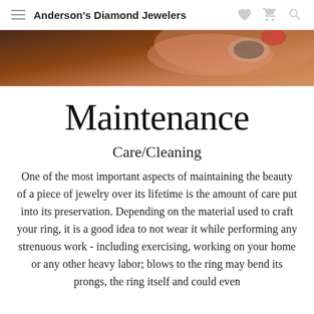Anderson's Diamond Jewelers
[Figure (photo): Close-up photo of a hand holding a diamond ring with a dark background]
Maintenance
Care/Cleaning
One of the most important aspects of maintaining the beauty of a piece of jewelry over its lifetime is the amount of care put into its preservation. Depending on the material used to craft your ring, it is a good idea to not wear it while performing any strenuous work - including exercising, working on your home or any other heavy labor; blows to the ring may bend its prongs, the ring itself and could even